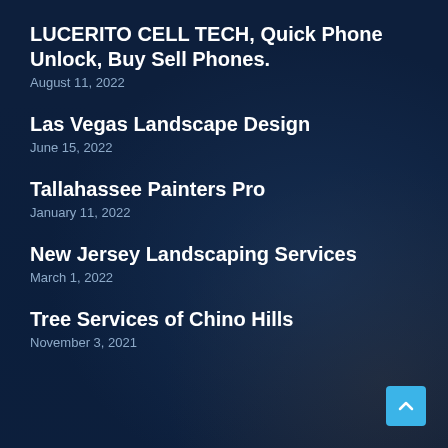LUCERITO CELL TECH, Quick Phone Unlock, Buy Sell Phones.
August 11, 2022
Las Vegas Landscape Design
June 15, 2022
Tallahassee Painters Pro
January 11, 2022
New Jersey Landscaping Services
March 1, 2022
Tree Services of Chino Hills
November 3, 2021